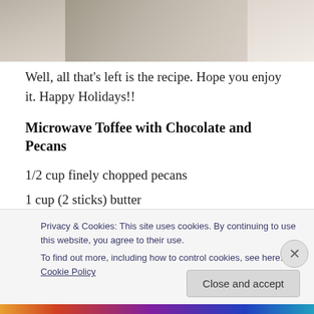[Figure (photo): Partial top of a food photo showing a light-colored baked item on a white surface, cropped at the top of the page]
Well, all that's left is the recipe. Hope you enjoy it. Happy Holidays!!
Microwave Toffee with Chocolate and Pecans
1/2 cup finely chopped pecans
1 cup (2 sticks) butter
1 cup sugar
1 teaspoon salt
Privacy & Cookies: This site uses cookies. By continuing to use this website, you agree to their use.
To find out more, including how to control cookies, see here: Cookie Policy